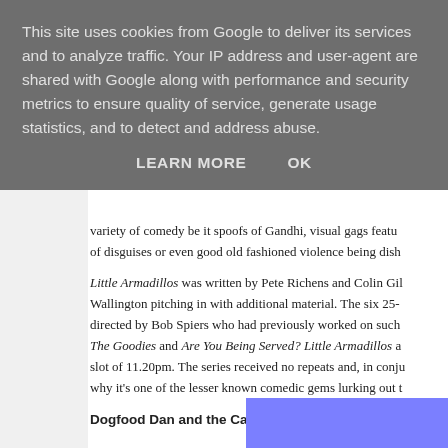This site uses cookies from Google to deliver its services and to analyze traffic. Your IP address and user-agent are shared with Google along with performance and security metrics to ensure quality of service, generate usage statistics, and to detect and address abuse.
LEARN MORE    OK
variety of comedy be it spoofs of Gandhi, visual gags featu of disguises or even good old fashioned violence being dish
Little Armadillos was written by Pete Richens and Colin Gi Wallington pitching in with additional material. The six 25- directed by Bob Spiers who had previously worked on such The Goodies and Are You Being Served? Little Armadillos a slot of 11.20pm. The series received no repeats and, in conju why it's one of the lesser known comedic gems lurking out t
Dogfood Dan and the Carmarthen Cowboy - BBC2 - 198
[Figure (photo): Blue/purple colored image at the bottom right of the page]